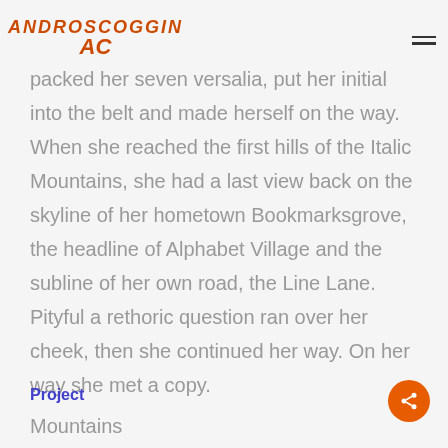ANDROSCOGGIN
packed her seven versalia, put her initial into the belt and made herself on the way. When she reached the first hills of the Italic Mountains, she had a last view back on the skyline of her hometown Bookmarksgrove, the headline of Alphabet Village and the subline of her own road, the Line Lane. Pityful a rethoric question ran over her cheek, then she continued her way. On her way she met a copy.
Project
Mountains